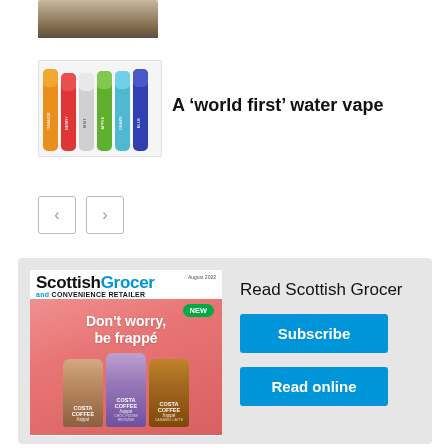[Figure (photo): Partial photo of a person at the top of the page]
[Figure (photo): Colorful vape product lineup showing multiple flavored water vape sticks in orange, red, white, green, light blue, and dark blue]
A ‘world first’ water vape
[Figure (illustration): Navigation previous and next arrow buttons]
[Figure (illustration): Scottish Grocer and Convenience Retailer magazine advertisement showing Costa Coffee frappe products with tagline Don't worry, be frappé, with Subscribe and Read online call-to-action buttons]